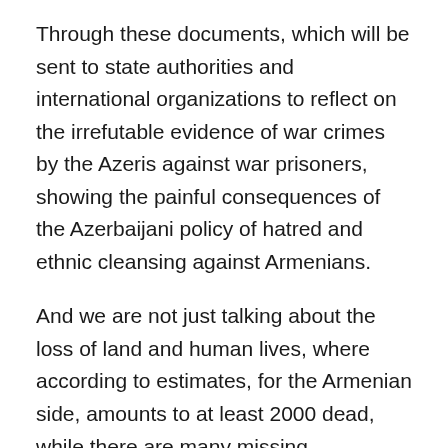Through these documents, which will be sent to state authorities and international organizations to reflect on the irrefutable evidence of war crimes by the Azeris against war prisoners, showing the painful consequences of the Azerbaijani policy of hatred and ethnic cleansing against Armenians.
And we are not just talking about the loss of land and human lives, where according to estimates, for the Armenian side, amounts to at least 2000 dead, while there are many missing.
We are referring to the cultural “genocide”, the desecration and destruction of cultural and religious monuments by the Azerbaijani army and its allies, in order to eliminate any trace of the undeniable presence, existence and property titles of the Armenian people in